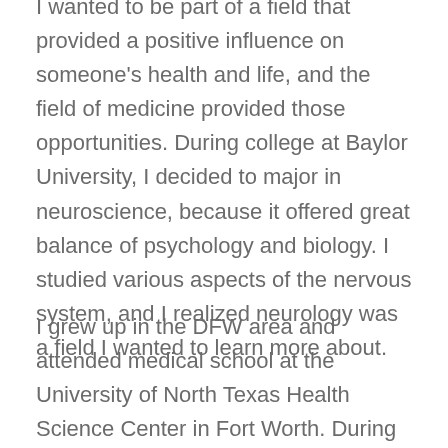I wanted to be part of a field that provided a positive influence on someone's health and life, and the field of medicine provided those opportunities. During college at Baylor University, I decided to major in neuroscience, because it offered great balance of psychology and biology. I studied various aspects of the nervous system, and I realized neurology was a field I wanted to learn more about.
I grew up in the DFW area and attended medical school at the University of North Texas Health Science Center in Fort Worth. During my time in medical school, I led a medical mission